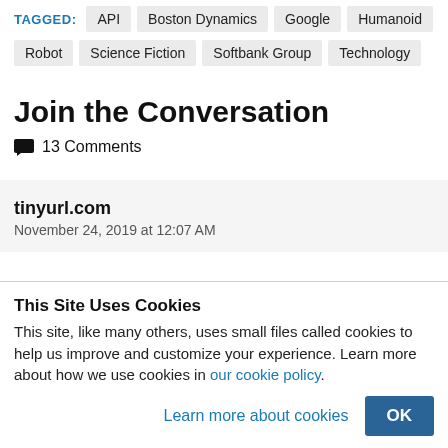TAGGED: API  Boston Dynamics  Google  Humanoid
Robot  Science Fiction  Softbank Group  Technology
Join the Conversation
13 Comments
tinyurl.com
November 24, 2019 at 12:07 AM
This Site Uses Cookies
This site, like many others, uses small files called cookies to help us improve and customize your experience. Learn more about how we use cookies in our cookie policy.
Learn more about cookies
OK